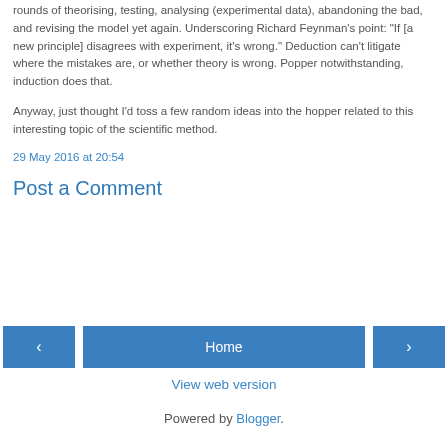rounds of theorising, testing, analysing (experimental data), abandoning the bad, and revising the model yet again. Underscoring Richard Feynman’s point: “If [a new principle] disagrees with experiment, it’s wrong.” Deduction can't litigate where the mistakes are, or whether theory is wrong. Popper notwithstanding, induction does that.
Anyway, just thought I’d toss a few random ideas into the hopper related to this interesting topic of the scientific method.
29 May 2016 at 20:54
Post a Comment
Home
View web version
Powered by Blogger.